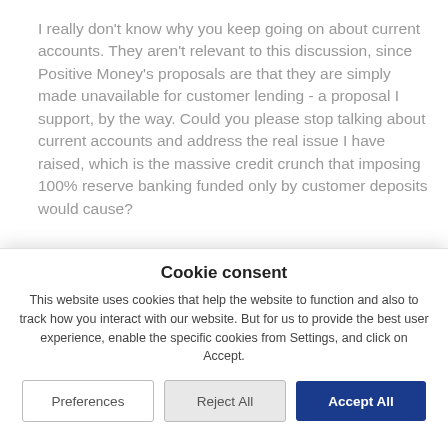I really don't know why you keep going on about current accounts. They aren't relevant to this discussion, since Positive Money's proposals are that they are simply made unavailable for customer lending - a proposal I support, by the way. Could you please stop talking about current accounts and address the real issue I have raised, which is the massive credit crunch that imposing 100% reserve banking funded only by customer deposits would cause?

Where do you think people put their long-term savings these days? It isn't in banks. It's in
Cookie consent
This website uses cookies that help the website to function and also to track how you interact with our website. But for us to provide the best user experience, enable the specific cookies from Settings, and click on Accept.